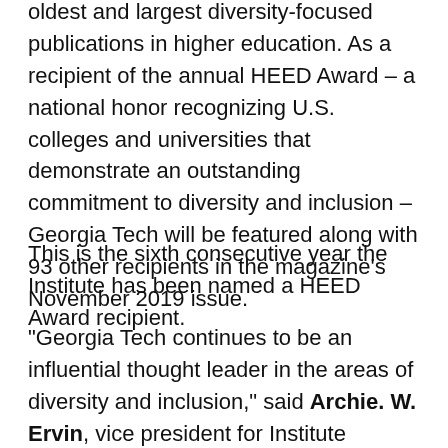oldest and largest diversity-focused publications in higher education. As a recipient of the annual HEED Award – a national honor recognizing U.S. colleges and universities that demonstrate an outstanding commitment to diversity and inclusion – Georgia Tech will be featured along with 93 other recipients in the magazine's November 2019 issue.
This is the sixth consecutive year the Institute has been named a HEED Award recipient.
“Georgia Tech continues to be an influential thought leader in the areas of diversity and inclusion,” said Archie. W. Ervin, vice president for Institute Diversity, Equity and Inclusion. “Receiving the HEED Award for a sixth year in a row signifies the Institute’s commitment to creating an inclusive and welcoming campus community for all as we continue on our path forward, together as ‘One